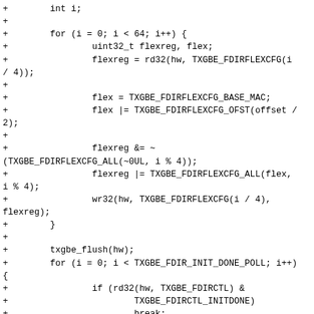+        int i;
+
+        for (i = 0; i < 64; i++) {
+                uint32_t flexreg, flex;
+                flexreg = rd32(hw, TXGBE_FDIRFLEXCFG(i / 4));
+
+                flex = TXGBE_FDIRFLEXCFG_BASE_MAC;
+                flex |= TXGBE_FDIRFLEXCFG_OFST(offset / 2);
+
+                flexreg &= ~(TXGBE_FDIRFLEXCFG_ALL(~0UL, i % 4));
+                flexreg |= TXGBE_FDIRFLEXCFG_ALL(flex, i % 4);
+                wr32(hw, TXGBE_FDIRFLEXCFG(i / 4), flexreg);
+        }
+
+        txgbe_flush(hw);
+        for (i = 0; i < TXGBE_FDIR_INIT_DONE_POLL; i++) {
+                if (rd32(hw, TXGBE_FDIRCTL) &
+                        TXGBE_FDIRCTL_INITDONE)
+                        break;
+                msec_delay(1);
+        }
+        return 0;
+}
+
 /*
  * txgbe_check_fdir_flex_conf -check if the flex